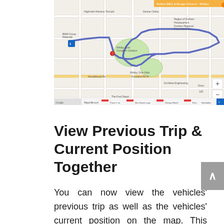[Figure (map): Google Maps screenshot showing a route/trip path drawn in blue/purple on a street map of Whitby, Ontario area, with various location markers. Shows street layout, Whitby Civic Campus, parks, and surrounding roads with a route highlighted.]
View Previous Trip & Current Position Together
You can now view the vehicles' previous trip as well as the vehicles' current position on the map. This feature adds context to the current location by